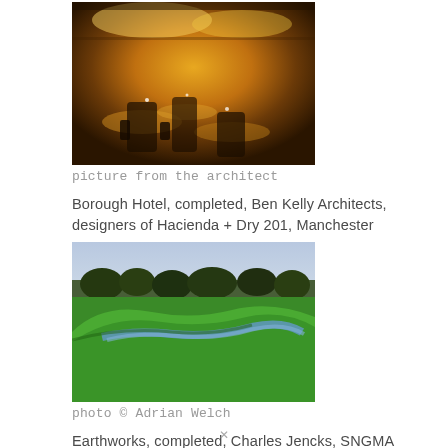[Figure (photo): Interior of Borough Hotel restaurant with golden warm lighting, round tables with glassware, panoramic view]
picture from the architect
Borough Hotel, completed, Ben Kelly Architects, designers of Hacienda + Dry 201, Manchester
[Figure (photo): Aerial or wide-angle photo of curved earthworks landscape with winding water channel through green grass, trees in background]
photo © Adrian Welch
Earthworks, completed, Charles Jencks, SNGMA lawn, Belford Road
[Figure (photo): Wide panoramic photo of sky with blue tones and light clouds, landscape horizon]